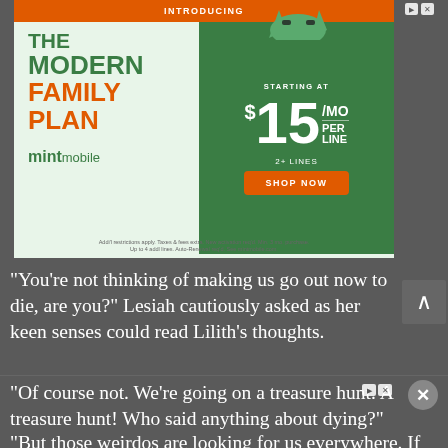[Figure (illustration): Mint Mobile advertisement banner: 'INTRODUCING THE MODERN FAMILY PLAN' with price '$15/MO PER LINE' for '2+ LINES' and 'SHOP NOW' button. Features Mint Mobile logo and cartoon cat mascot.]
“You’re not thinking of making us go out now to die, are you?” Lesiah cautiously asked as her keen senses could read Lilith’s thoughts.
“Of course not. We’re going on a treasure hunt. A treasure hunt! Who said anything about dying?”
“But those weirdos are looking for us everywhere. If we